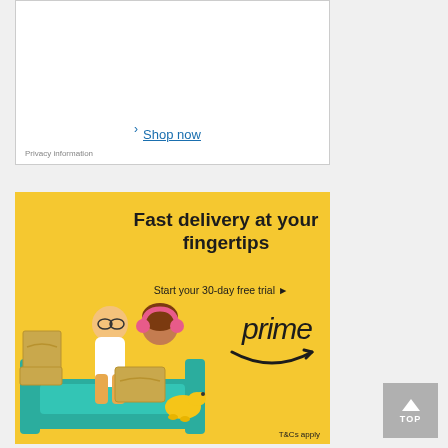[Figure (screenshot): Top advertisement banner with white background, showing 'Shop now' link with arrow]
Privacy information
[Figure (infographic): Amazon Prime advertisement with yellow background showing 'Fast delivery at your fingertips', 'Start your 30-day free trial', Amazon Prime logo, and illustrated cartoon people on a sofa with Amazon boxes and a dog]
T&Cs apply